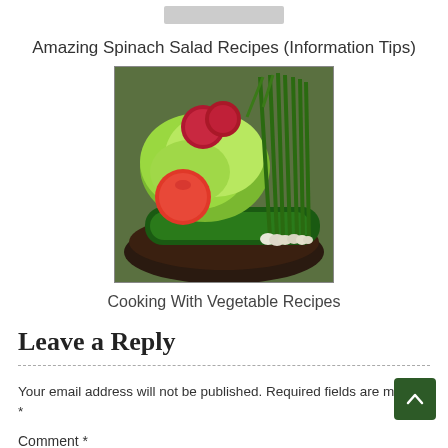[Figure (other): Small placeholder image bar at top center]
Amazing Spinach Salad Recipes (Information Tips)
[Figure (photo): Photo of a bowl of fresh vegetables including green onions, lettuce, tomatoes, cucumbers, and red onions on a dark plate]
Cooking With Vegetable Recipes
Leave a Reply
Your email address will not be published. Required fields are marked *
Comment *